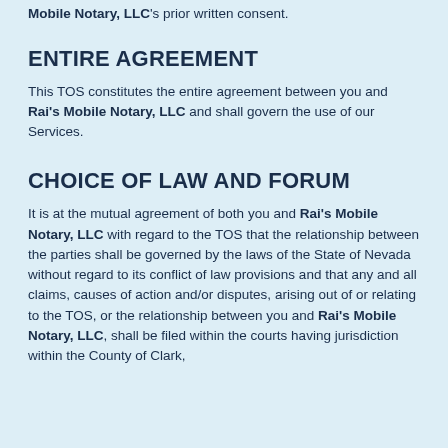Mobile Notary, LLC's prior written consent.
ENTIRE AGREEMENT
This TOS constitutes the entire agreement between you and Rai's Mobile Notary, LLC and shall govern the use of our Services.
CHOICE OF LAW AND FORUM
It is at the mutual agreement of both you and Rai's Mobile Notary, LLC with regard to the TOS that the relationship between the parties shall be governed by the laws of the State of Nevada without regard to its conflict of law provisions and that any and all claims, causes of action and/or disputes, arising out of or relating to the TOS, or the relationship between you and Rai's Mobile Notary, LLC, shall be filed within the courts having jurisdiction within the County of Clark,